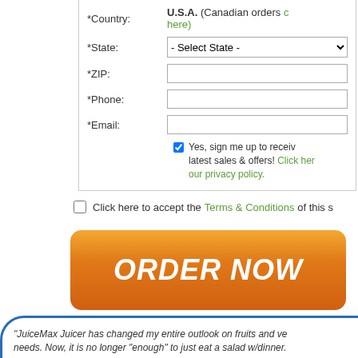*Country: U.S.A. (Canadian orders click here)
*State: - Select State -
*ZIP:
*Phone:
*Email:
Yes, sign me up to receive latest sales & offers! Click here for our privacy policy.
Click here to accept the Terms & Conditions of this s
[Figure (other): Orange ORDER NOW button with gradient and rounded corners]
"JuiceMax Juicer has changed my entire outlook on fruits and ve... needs. Now, it is no longer "enough" to just eat a salad w/dinner... a small portion of the good stuff (kale & spinach) I can consume... something healthy and beneficial for my body. It's a win-win!" - Jessica P.